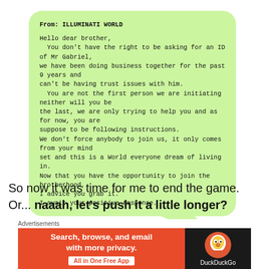[Figure (screenshot): Green rounded chat message bubble with tail pointing down-right. Contains text from 'ILLUMINATI WORLD' saying: 'Hello dear brother, You don't have the right to be asking for an ID of Mr Gabriel, we have been doing business together for the past 9 years and can't be having trust issues with him. You are not the first person we are initiating neither will you be the last, we are only trying to help you and as for now, you are suppose to be following instructions. We don't force anybody to join us, it only comes from your mind set and this is a World everyone dream of living in. Now that you have the opportunity to join the brotherhood, I advice you grab it. I await your positive response.']
So now it was time for me to end the game. Or... naaah, let's push it a little longer?
I wanted to see how far were they willing to go:
[Figure (screenshot): Advertisement bar at bottom: 'Advertisements' label, orange DuckDuckGo ad with text 'Search, browse, and email with more privacy. All in One Free App' with DuckDuckGo logo on dark right panel.]